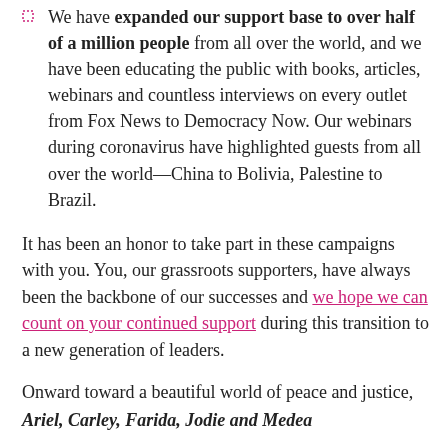We have expanded our support base to over half of a million people from all over the world, and we have been educating the public with books, articles, webinars and countless interviews on every outlet from Fox News to Democracy Now. Our webinars during coronavirus have highlighted guests from all over the world—China to Bolivia, Palestine to Brazil.
It has been an honor to take part in these campaigns with you. You, our grassroots supporters, have always been the backbone of our successes and we hope we can count on your continued support during this transition to a new generation of leaders.
Onward toward a beautiful world of peace and justice,
Ariel, Carley, Farida, Jodie and Medea